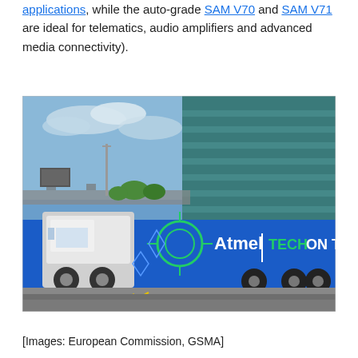applications, while the auto-grade SAM V70 and SAM V71 are ideal for telematics, audio amplifiers and advanced media connectivity).
[Figure (photo): Photograph of a large blue Atmel 'TECH ON TOUR' branded truck parked in a parking lot next to a teal multi-story building. The truck has the Atmel logo and 'TECH ON TOUR' text prominently displayed in white and green lettering on its side. The parking lot has yellow hatched markings on the ground. The sky is partly cloudy and blue.]
[Images: European Commission, GSMA]